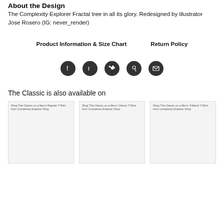About the Design
The Complexity Explorer Fractal tree in all its glory. Redesigned by illustrator Jose Rosero (IG: never_render)
Product Information & Size Chart    Return Policy
[Figure (infographic): Row of five social media share icons (Facebook, Tumblr, Twitter, Pinterest, Email) as dark circular buttons]
The Classic is also available on
[Figure (screenshot): Three product thumbnail images side by side. Left: Shop The Classic on a Men's Regular T-Shirt from Complexity Explorer Shop. Center: Shop The Classic on a Men's Classic T-Shirt from Complexity Explorer Shop. Right: Shop The Classic on a Men's Triblend T-Shirt from Complexity Explorer Shop.]